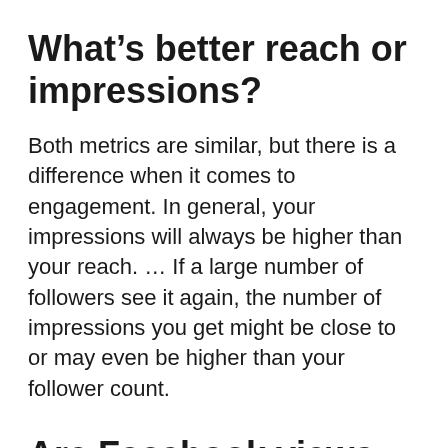What's better reach or impressions?
Both metrics are similar, but there is a difference when it comes to engagement. In general, your impressions will always be higher than your reach. … If a large number of followers see it again, the number of impressions you get might be close to or may even be higher than your follower count.
Are Facebook views accurate?
“View” might not be the most accurate metric to judge the viewer interest from so